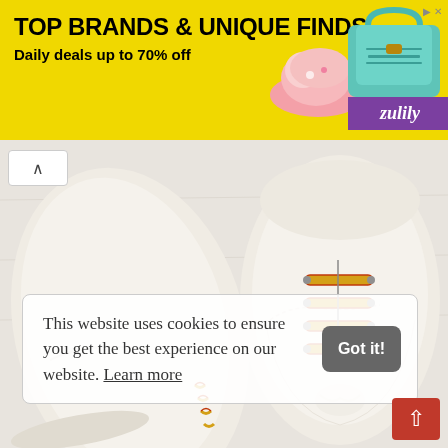[Figure (infographic): Zulily advertisement banner with yellow background, showing text 'TOP BRANDS & UNIQUE FINDS' and 'Daily deals up to 70% off', with images of a pink shoe and teal handbag, and purple Zulily logo badge]
[Figure (photo): Close-up photograph of white canvas sneakers with gold and red laces on a light background]
This website uses cookies to ensure you get the best experience on our website. Learn more
Got it!